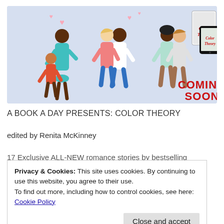[Figure (illustration): Promotional banner for 'Color Theory' anthology showing illustrated couples of diverse ethnicities with hearts, and book covers (print and ebook) with 'COMING SOON' text in red on a light blue background]
A BOOK A DAY PRESENTS: COLOR THEORY
edited by Renita McKinney
17 Exclusive ALL-NEW romance stories by bestselling
Privacy & Cookies: This site uses cookies. By continuing to use this website, you agree to their use.
To find out more, including how to control cookies, see here:
Cookie Policy
Close and accept